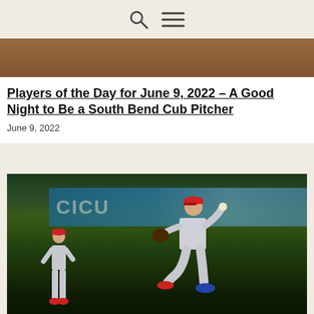Search and Menu icons
[Figure (photo): Partial top image strip — top portion of a baseball scene, cropped by navigation bar]
Players of the Day for June 9, 2022 – A Good Night to Be a South Bend Cub Pitcher
June 9, 2022
[Figure (photo): Baseball pitcher in gray South Bend Cubs uniform with red cap mid-windup on a baseball field. A fielder in the same uniform stands in the background. A blue CICU sponsor banner is visible on the outfield wall.]